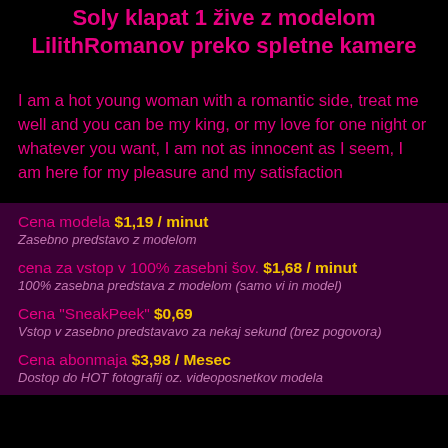Soly klapat 1 žive z modelom LilithRomanov preko spletne kamere
I am a hot young woman with a romantic side, treat me well and you can be my king, or my love for one night or whatever you want, I am not as innocent as I seem, I am here for my pleasure and my satisfaction
Cena modela $1,19 / minut
Zasebno predstavo z modelom
cena za vstop v 100% zasebni šov. $1,68 / minut
100% zasebna predstava z modelom (samo vi in model)
Cena "SneakPeek" $0,69
Vstop v zasebno predstavavo za nekaj sekund (brez pogovora)
Cena abonmaja $3,98 / Mesec
Dostop do HOT fotografij oz. videoposnetkov modela